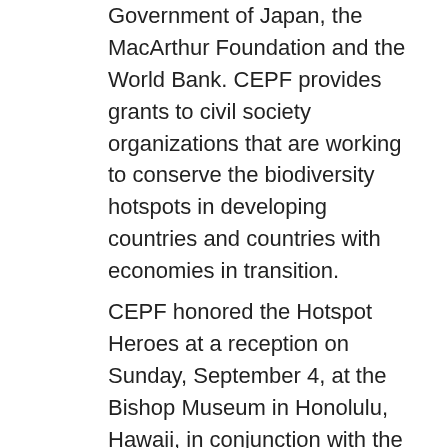Government of Japan, the MacArthur Foundation and the World Bank. CEPF provides grants to civil society organizations that are working to conserve the biodiversity hotspots in developing countries and countries with economies in transition.
CEPF honored the Hotspot Heroes at a reception on Sunday, September 4, at the Bishop Museum in Honolulu, Hawaii, in conjunction with the World Conservation Congress held by the International Union for Conservation of Nature (IUCN), which